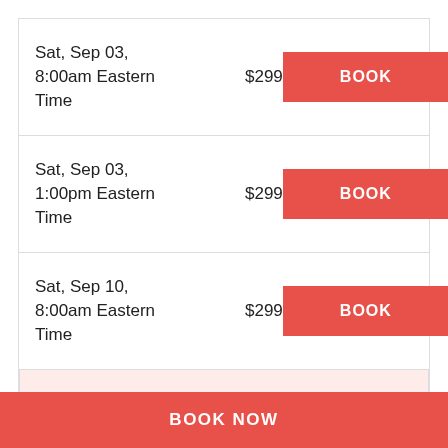| Date/Time | Price | Action |
| --- | --- | --- |
| Sat, Sep 03, 8:00am Eastern Time | $299 | BOOK |
| Sat, Sep 03, 1:00pm Eastern Time | $299 | BOOK |
| Sat, Sep 10, 8:00am Eastern Time | $299 | BOOK |
Don't see a date that works for you?
BOOK NOW